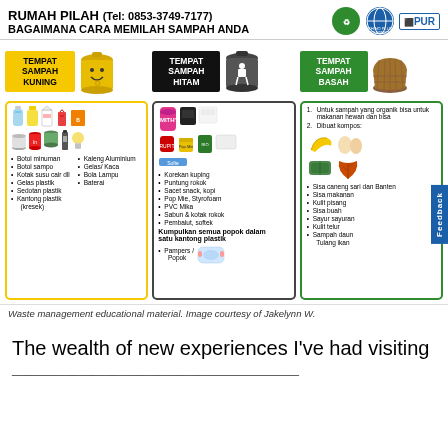RUMAH PILAH (Tel: 0853-3749-7177)
BAGAIMANA CARA MEMILAH SAMPAH ANDA
[Figure (infographic): Waste sorting infographic with three columns: yellow bin (TEMPAT SAMPAH KUNING) for recyclables like bottles, cans, plastic; black bin (TEMPAT SAMPAH HITAM) for non-recyclables like chip packets, cigarette butts, styrofoam, diapers; green bin (TEMPAT SAMPAH BASAH) for organic/wet waste like food scraps, banana peels, leaves.]
Waste management educational material. Image courtesy of Jakelynn W.
The wealth of new experiences I've had visiting